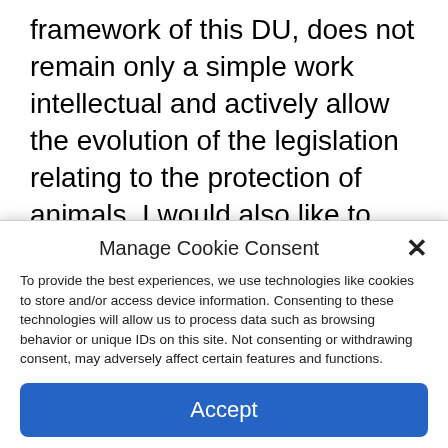framework of this DU, does not remain only a simple work intellectual and actively allow the evolution of the legislation relating to the protection of animals. I would also like to warmly thank Mr. Marguénaud, President of the Michelet Prize jury, all the members of the jury and the 30 Million Friends Foundation for having done me the honor of
Manage Cookie Consent
To provide the best experiences, we use technologies like cookies to store and/or access device information. Consenting to these technologies will allow us to process data such as browsing behavior or unique IDs on this site. Not consenting or withdrawing consent, may adversely affect certain features and functions.
Accept